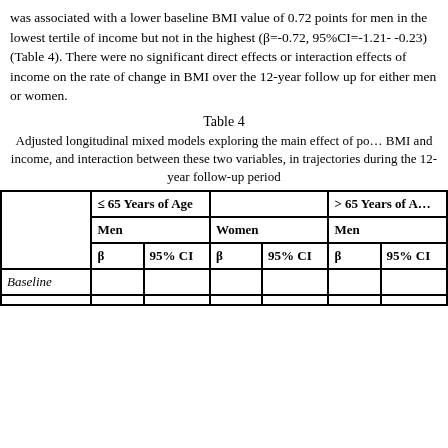was associated with a lower baseline BMI value of 0.72 points for men in the lowest tertile of income but not in the highest (β=-0.72, 95%CI=-1.21- -0.23) (Table 4). There were no significant direct effects or interaction effects of income on the rate of change in BMI over the 12-year follow up for either men or women.
Table 4
Adjusted longitudinal mixed models exploring the main effect of poverty, BMI and income, and interaction between these two variables, in BMI trajectories during the 12-year follow-up period
|  | ≤ 65 Years of Age Men β | ≤ 65 Years of Age Men 95% CI | ≤ 65 Years of Age Women β | ≤ 65 Years of Age Women 95% CI | > 65 Years of Age Men β | > 65 Years of Age Men 95% CI |
| --- | --- | --- | --- | --- | --- | --- |
| Baseline |  |  |  |  |  |  |